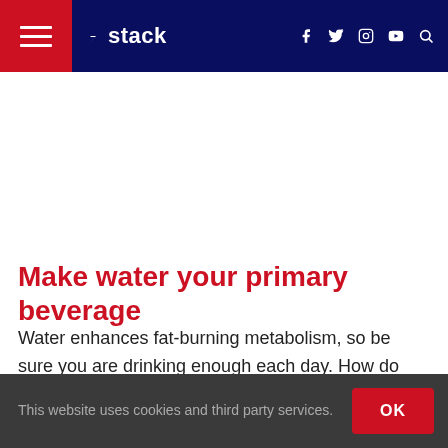Stack — Navigation bar with hamburger menu, Stack logo, social icons (f, twitter, instagram, youtube), search
Make water your primary beverage
Water enhances fat-burning metabolism, so be sure you are drinking enough each day. How do you know if you're consuming enough water? Monitor the color of your urine. It should be clear, not yellow. Deep yellow means you're
This website uses cookies and third party services.